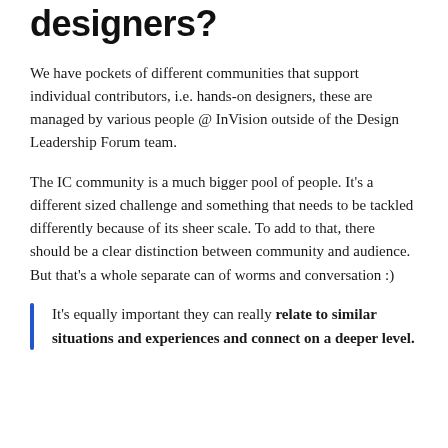designers?
We have pockets of different communities that support individual contributors, i.e. hands-on designers, these are managed by various people @ InVision outside of the Design Leadership Forum team.
The IC community is a much bigger pool of people. It's a different sized challenge and something that needs to be tackled differently because of its sheer scale. To add to that, there should be a clear distinction between community and audience. But that's a whole separate can of worms and conversation :)
It's equally important they can really relate to similar situations and experiences and connect on a deeper level.